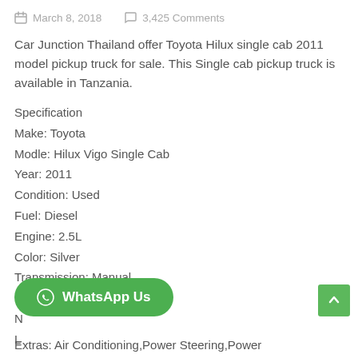March 8, 2018    3,425 Comments
Car Junction Thailand offer Toyota Hilux single cab 2011 model pickup truck for sale. This Single cab pickup truck is available in Tanzania.
Specification
Make: Toyota
Modle: Hilux Vigo Single Cab
Year: 2011
Condition: Used
Fuel: Diesel
Engine: 2.5L
Color: Silver
Transmission: Manual
No. of Doors: 2
Extras: Air Conditioning,Power Steering,Power